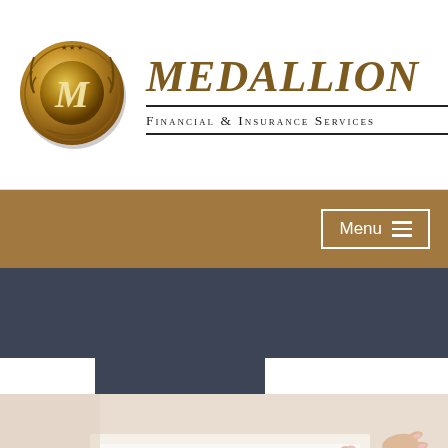[Figure (logo): Medallion Financial & Insurance Services logo with gold coin/medallion on left and company name text on right]
[Figure (other): Navigation bar with tan/gold background and Menu button with hamburger icon on the right]
[Figure (other): Dark slate blue/grey horizontal banner band]
[Figure (photo): Photo of hands signing financial documents, with a person wearing a watch on the left and a person with manicured nails holding a pen on the right]